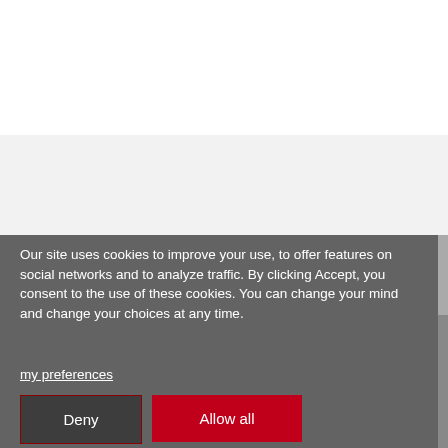[Figure (screenshot): White background area at the top of the page, representing a partially visible webpage before the cookie consent overlay.]
[Figure (screenshot): Light gray rectangular area representing a blurred or grayed-out webpage content section.]
Our site uses cookies to improve your use, to offer features on social networks and to analyze traffic. By clicking Accept, you consent to the use of these cookies. You can change your mind and change your choices at any time.
my preferences
Deny
Allow all